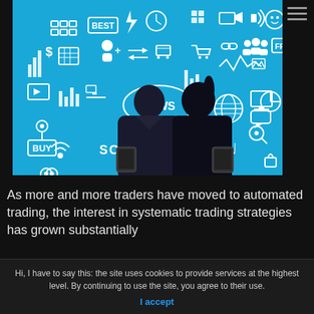[Figure (illustration): Social trading concept illustration on blue background showing two silhouetted figures (man and woman) standing back-to-back, each holding a tablet device. Surrounding them are various white flat icons: BUY, BEST, FREE, NEWS, financial charts, social media icons, cameras, clocks, gears, shopping carts, etc. Text 'SOCIAL TRADING' appears in white across the upper-center area.]
As more and more traders have moved to automated trading, the interest in systematic trading strategies has grown substantially
Hi, I have to say this: the site uses cookies to provide services at the highest level. By continuing to use the site, you agree to their use.
I accept